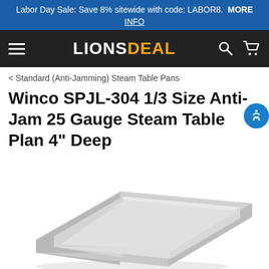Labor Day Sale: Save 8% sitewide with code: LABOR8.  MORE
INFO
LIONSDEAL
< Standard (Anti-Jamming) Steam Table Pans
Winco SPJL-304 1/3 Size Anti-Jam 25 Gauge Steam Table Plan 4" Deep
[Figure (photo): A stainless steel 1/3 size anti-jam steam table pan, 4 inches deep, shown at an angle on a white background.]